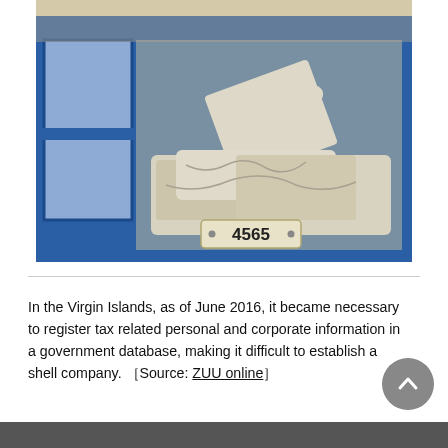[Figure (photo): A blue metal mailbox unit with compartments. One compartment contains crumpled papers and rolled documents. A label plate reads '4565' at the bottom of the compartment.]
In the Virgin Islands, as of June 2016, it became necessary to register tax related personal and corporate information in a government database, making it difficult to establish a shell company. [Source: ZUU online]